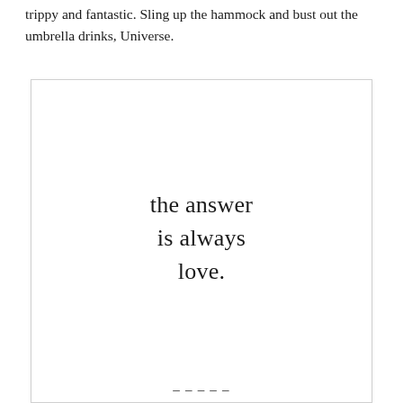trippy and fantastic. Sling up the hammock and bust out the umbrella drinks, Universe.
[Figure (illustration): A white card or framed box with centered serif text reading 'the answer is always love.' with additional partially visible text at the bottom edge.]